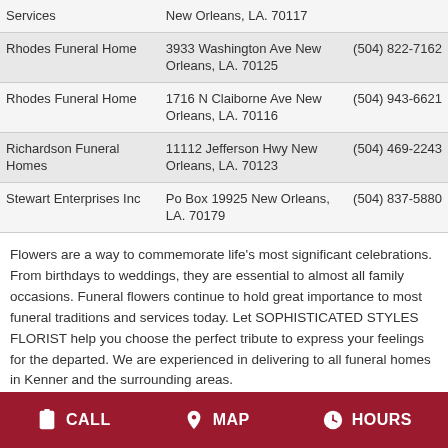| Name | Address | Phone |
| --- | --- | --- |
| Services | New Orleans, LA. 70117 |  |
| Rhodes Funeral Home | 3933 Washington Ave New Orleans, LA. 70125 | (504) 822-7162 |
| Rhodes Funeral Home | 1716 N Claiborne Ave New Orleans, LA. 70116 | (504) 943-6621 |
| Richardson Funeral Homes | 11112 Jefferson Hwy New Orleans, LA. 70123 | (504) 469-2243 |
| Stewart Enterprises Inc | Po Box 19925 New Orleans, LA. 70179 | (504) 837-5880 |
Flowers are a way to commemorate life's most significant celebrations. From birthdays to weddings, they are essential to almost all family occasions. Funeral flowers continue to hold great importance to most funeral traditions and services today. Let SOPHISTICATED STYLES FLORIST help you choose the perfect tribute to express your feelings for the departed. We are experienced in delivering to all funeral homes in Kenner and the surrounding areas.
CALL  MAP  HOURS